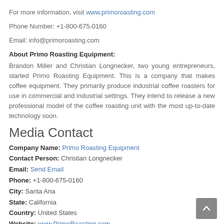For more information, visit www.primoroasting.com
Phone Number: +1-800-675-0160
Email: info@primoroasting.com
About Primo Roasting Equipment:
Brandon Miller and Christian Longnecker, two young entrepreneurs, started Primo Roasting Equipment. This is a company that makes coffee equipment. They primarily produce industrial coffee roasters for use in commercial and industrial settings. They intend to release a new professional model of the coffee roasting unit with the most up-to-date technology soon.
Media Contact
Company Name: Primo Roasting Equipment
Contact Person: Christian Longnecker
Email: Send Email
Phone: +1-800-675-0160
City: Santa Ana
State: California
Country: United States
Website: www.PrimoRoasting.com